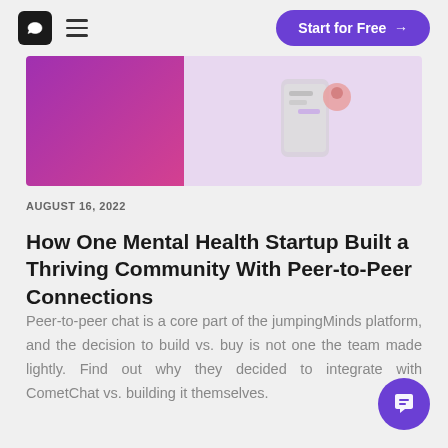CometChat — Start for Free →
[Figure (illustration): Hero banner with left half showing purple-to-pink gradient and right half showing a light lavender background with a smartphone and chat UI elements]
AUGUST 16, 2022
How One Mental Health Startup Built a Thriving Community With Peer-to-Peer Connections
Peer-to-peer chat is a core part of the jumpingMinds platform, and the decision to build vs. buy is not one the team made lightly. Find out why they decided to integrate with CometChat vs. building it themselves.